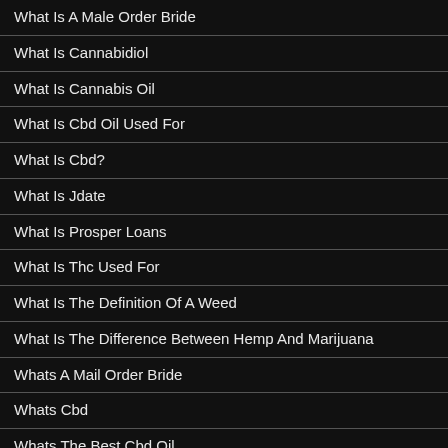What Is A Male Order Bride
What Is Cannabidiol
What Is Cannabis Oil
What Is Cbd Oil Used For
What Is Cbd?
What Is Jdate
What Is Prosper Loans
What Is Thc Used For
What Is The Definition Of A Weed
What Is The Difference Between Hemp And Marijuana
Whats A Mail Order Bride
Whats Cbd
Whats The Best Cbd Oil